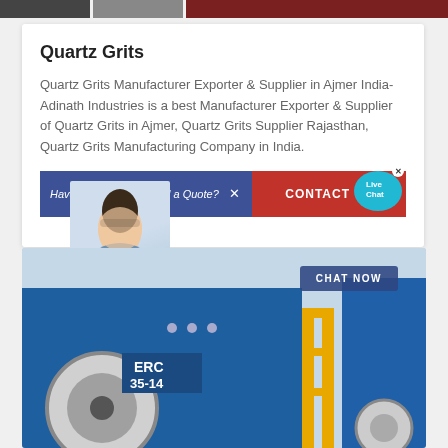[Figure (photo): Top image strip with three thumbnail images of industrial/product photos]
Quartz Grits
Quartz Grits Manufacturer Exporter & Supplier in Ajmer India- Adinath Industries is a best Manufacturer Exporter & Supplier of Quartz Grits in Ajmer, Quartz Grits Supplier Rajasthan, Quartz Grits Manufacturing Company in India.
[Figure (infographic): Contact banner with text 'Have Questions or Need a Quote?' on blue background, 'CONTACT US' on red background, with a portrait of a woman with headset overlaid, and a 'Live Chat' bubble]
[Figure (photo): Industrial machinery photo showing blue heavy equipment labeled ERC 35-14 with yellow scaffolding, and a 'CHAT NOW' button overlay]